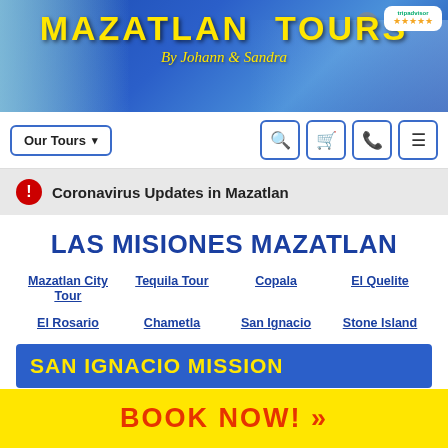[Figure (illustration): Mazatlan Tours website header banner with yellow text 'MAZATLAN TOURS' and subtitle 'By Johann & Sandra' on blue background with travel photos and a parrot, TripAdvisor badge in top right]
Our Tours ▾ [search] [cart] [phone] [menu]
⚠ Coronavirus Updates in Mazatlan
LAS MISIONES MAZATLAN
Mazatlan City Tour
Tequila Tour
Copala
El Quelite
El Rosario
Chametla
San Ignacio
Stone Island
SAN IGNACIO MISSION
Adults: $55.00 $49.50   Kids: $27.50 $24.75
Exclusive Online Discount!
BOOK NOW! »